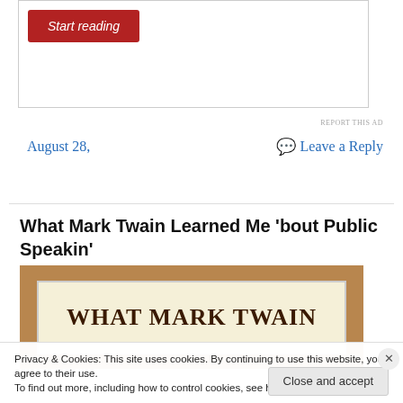[Figure (other): Ad box with a red 'Start reading' button]
REPORT THIS AD
August 28,
Leave a Reply
What Mark Twain Learned Me 'bout Public Speakin'
[Figure (illustration): Book cover image with tan background showing text 'WHAT MARK TWAIN' on cream panel]
Privacy & Cookies: This site uses cookies. By continuing to use this website, you agree to their use.
To find out more, including how to control cookies, see here: Cookie Policy
Close and accept